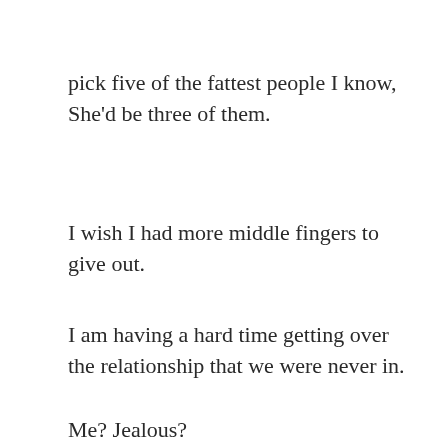pick five of the fattest people I know, She'd be three of them.
I wish I had more middle fingers to give out.
I am having a hard time getting over the relationship that we were never in.
Me? Jealous?